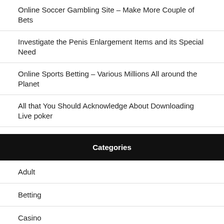Online Soccer Gambling Site – Make More Couple of Bets
Investigate the Penis Enlargement Items and its Special Need
Online Sports Betting – Various Millions All around the Planet
All that You Should Acknowledge About Downloading Live poker
Categories
Adult
Betting
Casino
Dating
Gambling
General